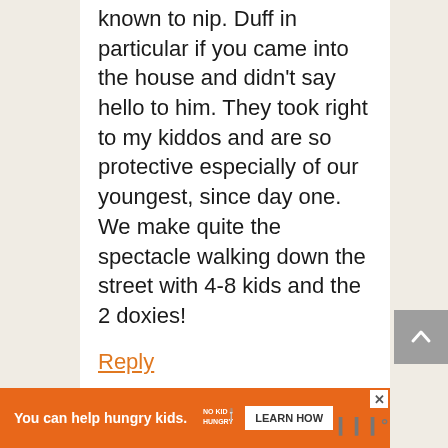known to nip. Duff in particular if you came into the house and didn't say hello to him. They took right to my kiddos and are so protective especially of our youngest, since day one. We make quite the spectacle walking down the street with 4-8 kids and the 2 doxies!
Reply
[Figure (other): Orange advertisement banner: 'You can help hungry kids.' with No Kid Hungry logo and LEARN HOW button]